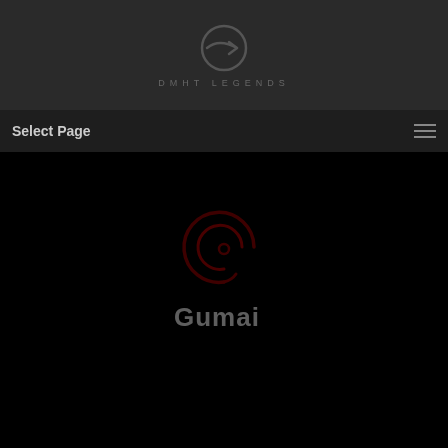[Figure (logo): Dark circular logo with arrow/head silhouette graphic and text 'DMHT LEGENDS' below in spaced letters, on dark background header]
Select Page
[Figure (logo): Gumai logo: red circular swirl/orbit icon above the word 'Gumai' in white/light gray text, centered on black background]